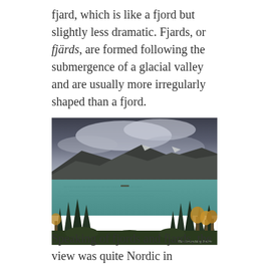fjard, which is like a fjord but slightly less dramatic. Fjards, or fjärds, are formed following the submergence of a glacial valley and are usually more irregularly shaped than a fjord.
[Figure (photo): A scenic landscape photograph showing a large teal/turquoise fjard or fjord with dark mountains in the background under a dramatic cloudy sky. In the foreground are conifer trees and autumn-colored deciduous trees. A small vessel is visible on the water. A watermark in the bottom-right reads 'The Geocaching Junkie'.]
Speaking of fjords and fjards, the view was quite Nordic in